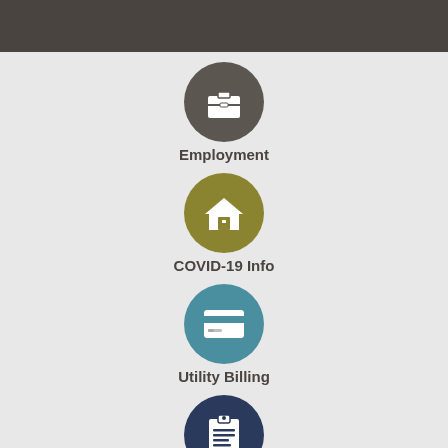[Figure (infographic): Gray header bar at top of page]
[Figure (infographic): Employment icon: dark gray circle with white briefcase icon]
Employment
[Figure (infographic): COVID-19 Info icon: olive/gold circle with white house icon]
COVID-19 Info
[Figure (infographic): Utility Billing icon: teal circle with white credit card icon]
Utility Billing
[Figure (infographic): Fourth icon: dark navy circle with white clipboard/list icon]